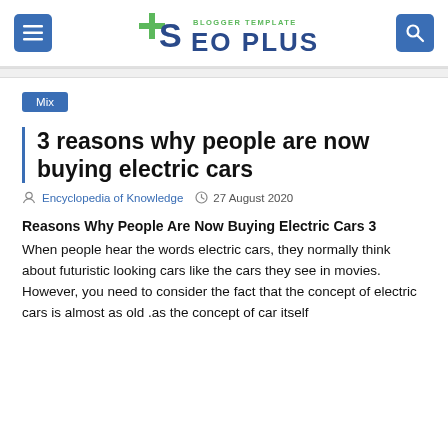SEO PLUS BLOGGER TEMPLATE
Mix
3 reasons why people are now buying electric cars
Encyclopedia of Knowledge  27 August 2020
Reasons Why People Are Now Buying Electric Cars 3
When people hear the words electric cars, they normally think about futuristic looking cars like the cars they see in movies. However, you need to consider the fact that the concept of electric cars is almost as old .as the concept of car itself